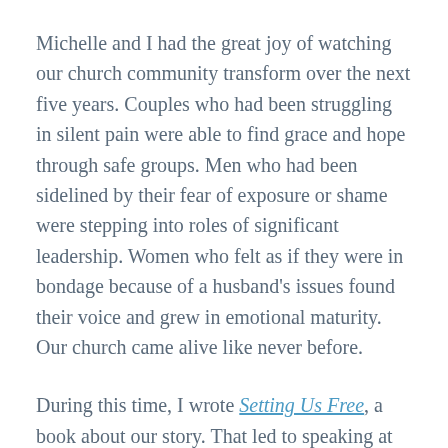Michelle and I had the great joy of watching our church community transform over the next five years. Couples who had been struggling in silent pain were able to find grace and hope through safe groups. Men who had been sidelined by their fear of exposure or shame were stepping into roles of significant leadership. Women who felt as if they were in bondage because of a husband's issues found their voice and grew in emotional maturity. Our church came alive like never before.
During this time, I wrote Setting Us Free, a book about our story. That led to speaking at some Pure Desire weekend conferences. In late 2015, the leadership team at Pure Desire approached me about possibly coming on staff to be the next executive director. Ted Roberts